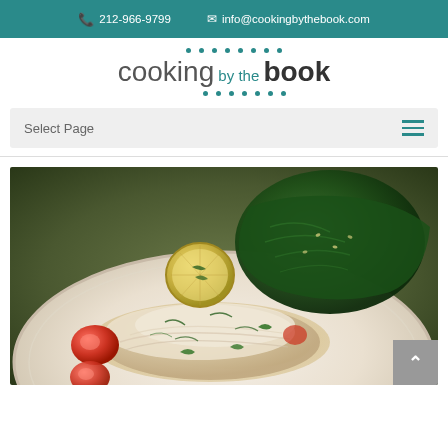📞 212-966-9799   ✉ info@cookingbythebook.com
[Figure (logo): Cooking by the Book logo with teal dots above and below, text reads 'cooking by the book' with 'by the' in smaller teal text]
Select Page
[Figure (photo): Close-up food photo of a plated dish with sliced chicken or fish, roasted tomatoes, sauteed spinach, a grilled lemon slice, and herbs on a white plate with golden sauce]